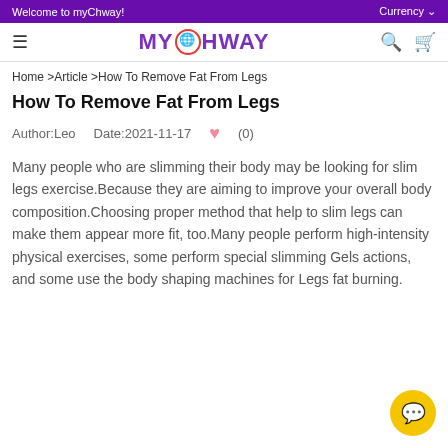Welcome to myChway!  Currency
[Figure (logo): myChway logo with globe icon in center]
Home >Article >How To Remove Fat From Legs
How To Remove Fat From Legs
Author:Leo  Date:2021-11-17  ♥ (0)
Many people who are slimming their body may be looking for slim legs exercise.Because they are aiming to improve your overall body composition.Choosing proper method that help to slim legs can make them appear more fit, too.Many people perform high-intensity physical exercises, some perform special slimming Gels actions, and some use the body shaping machines for Legs fat burning.